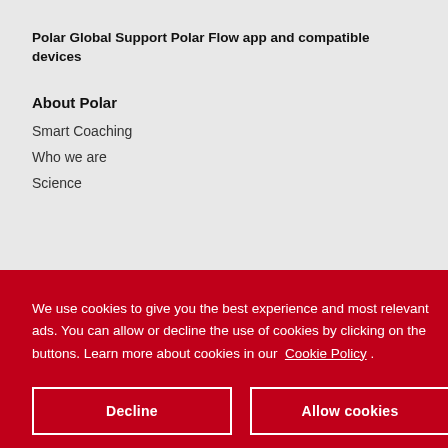Polar Global Support Polar Flow app and compatible devices
About Polar
Smart Coaching
Who we are
Science
We use cookies to give you the best experience and most relevant ads. You can allow or decline the use of cookies by clicking on the buttons. Learn more about cookies in our Cookie Policy .
Decline
Allow cookies
Webstore